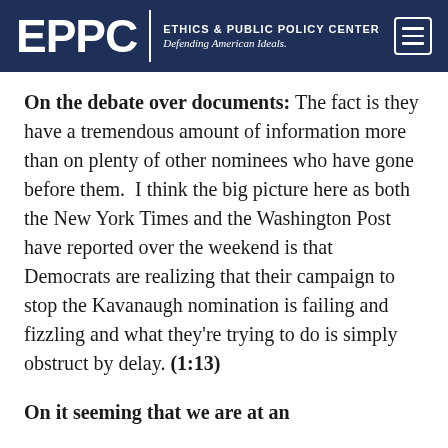EPPC | ETHICS & PUBLIC POLICY CENTER Defending American Ideals.
On the debate over documents: The fact is they have a tremendous amount of information more than on plenty of other nominees who have gone before them.  I think the big picture here as both the New York Times and the Washington Post have reported over the weekend is that Democrats are realizing that their campaign to stop the Kavanaugh nomination is failing and fizzling and what they're trying to do is simply obstruct by delay. (1:13)
On it seeming that we are at an